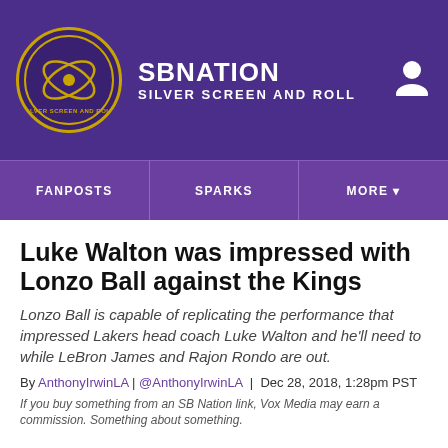SB NATION | SILVER SCREEN AND ROLL
FANPOSTS | SPARKS | MORE
Luke Walton was impressed with Lonzo Ball against the Kings
Lonzo Ball is capable of replicating the performance that impressed Lakers head coach Luke Walton and he'll need to while LeBron James and Rajon Rondo are out.
By AnthonyIrwinLA | @AnthonyIrwinLA | Dec 28, 2018, 1:28pm PST
If you buy something from an SB Nation link, Vox Media may earn a commission. Something about something.